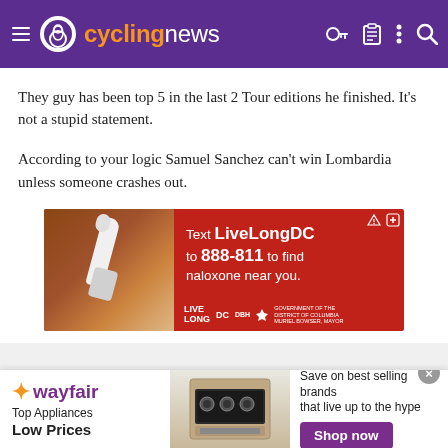cyclingnews
They guy has been top 5 in the last 2 Tour editions he finished. It's not a stupid statement.
According to your logic Samuel Sanchez can't win Lombardia unless someone crashes out.
[Figure (infographic): Red advertisement banner: Text LiveLongDC to 888-811 to find naloxone near you. Live Long DC DBH District of Columbia Muriel Bowser Mayor branding with image of hand holding naloxone nasal spray.]
[Figure (infographic): Wayfair advertisement banner: Top Appliances Low Prices. Save on best selling brands that live up to the hype. Shop now button. Image of kitchen stove appliance.]